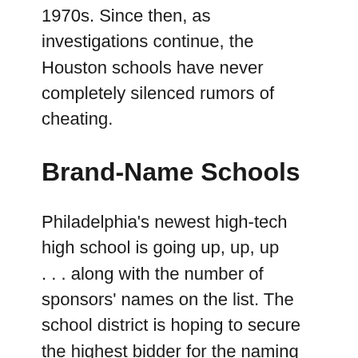1970s. Since then, as investigations continue, the Houston schools have never completely silenced rumors of cheating.
Brand-Name Schools
Philadelphia's newest high-tech high school is going up, up, up
. . . along with the number of sponsors' names on the list. The school district is hoping to secure the highest bidder for the naming rights to its futuristic, Microsoft-partnership campus. The chance to name the entire school was offered up for $5 million to any company willing to pay, within the School